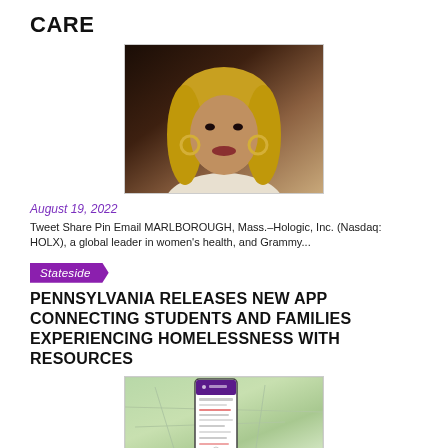CARE
[Figure (photo): Portrait photo of a woman with long braided hair and large hoop earrings, wearing a light-colored turtleneck.]
August 19, 2022
Tweet Share Pin Email MARLBOROUGH, Mass.–Hologic, Inc. (Nasdaq: HOLX), a global leader in women's health, and Grammy...
Stateside
PENNSYLVANIA RELEASES NEW APP CONNECTING STUDENTS AND FAMILIES EXPERIENCING HOMELESSNESS WITH RESOURCES
[Figure (photo): A smartphone displaying an app is overlaid on a map of Pennsylvania showing topographic/road details.]